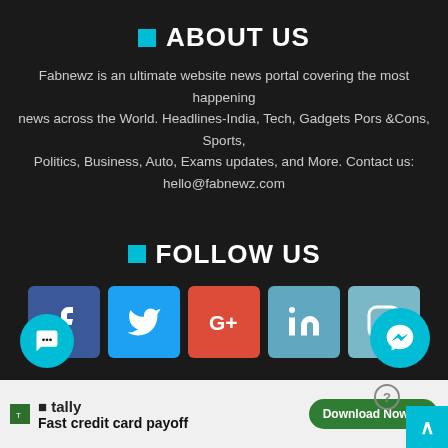ABOUT US
Fabnewz is an ultimate website news portal covering the most happening news across the World. Headlines-India, Tech, Gadgets Pors &Cons, Sports, Politics, Business, Auto, Exams updates, and More. Contact us: hello@fabnewz.com
FOLLOW US
[Figure (infographic): Social media icons row: Facebook, Twitter, Google+, LinkedIn, Instagram]
Home   About us   Publish Article   Reporters for News   Disclaimer   Privacy Policy   हिंदी
[Figure (infographic): Advertisement banner: Tally - Fast credit card payoff - Download Now button]